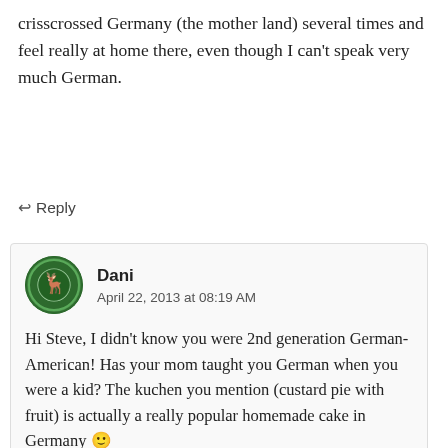crisscrossed Germany (the mother land) several times and feel really at home there, even though I can't speak very much German.
↩ Reply
Dani
April 22, 2013 at 08:19 AM
Hi Steve, I didn't know you were 2nd generation German-American! Has your mom taught you German when you were a kid? The kuchen you mention (custard pie with fruit) is actually a really popular homemade cake in Germany 🙂